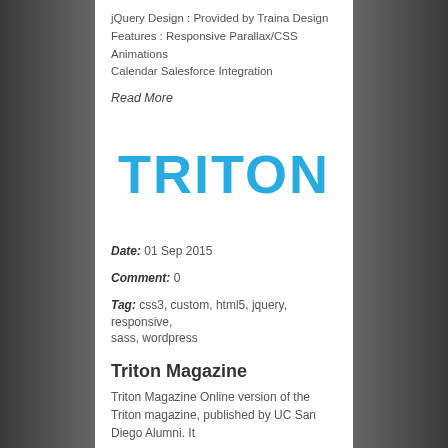jQuery Design : Provided by Traina Design Features : Responsive Parallax/CSS Animations Calendar Salesforce Integration
Read More
[Figure (logo): TRITON logo in bold blue uppercase letters]
Date: 01 Sep 2015
Comment: 0
Tag: css3, custom, html5, jquery, responsive, sass, wordpress
Triton Magazine
Triton Magazine Online version of the Triton magazine, published by UC San Diego Alumni. It